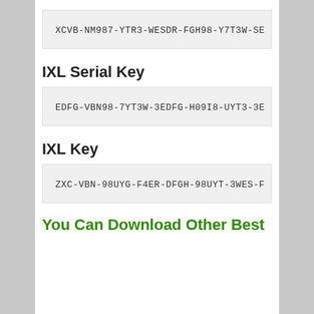XCVB-NM987-YTR3-WESDR-FGH98-Y7T3W-SE
IXL Serial Key
EDFG-VBN98-7YT3W-3EDFG-H09I8-UYT3-3E
IXL Key
ZXC-VBN-98UYG-F4ER-DFGH-98UYT-3WES-F
You Can Download Other Best